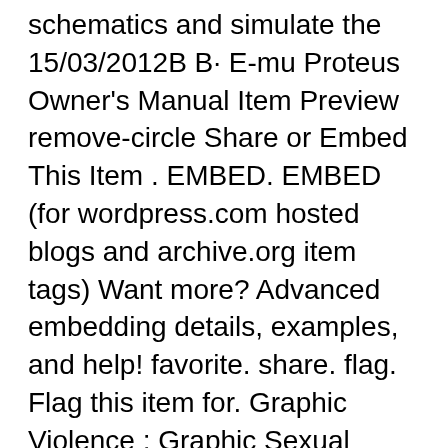schematics and simulate the 15/03/2012В В· E-mu Proteus Owner's Manual Item Preview remove-circle Share or Embed This Item . EMBED. EMBED (for wordpress.com hosted blogs and archive.org item tags) Want more? Advanced embedding details, examples, and help! favorite. share. flag. Flag this item for. Graphic Violence ; Graphic Sexual Content ; texts. E-mu Proteus Owner's Manual. Topics midi, proteus, preset, вЂ¦
05/03/2014В В· Printed circuit design with proteus 8.5 and 3d modeling with solid works1 editronikx - Duration: 20:26. Editronikx 101,621 views. 20:26. Making of PCBs at home, User interface could have been made better. The conclusion Proteus 8 Professional is software